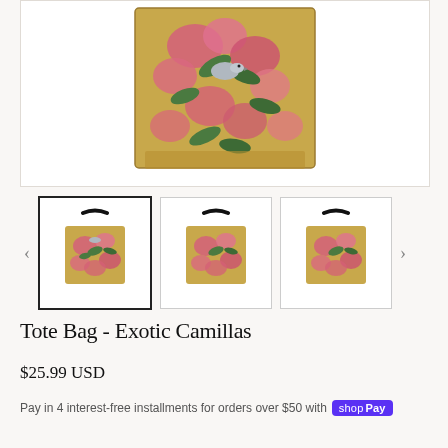[Figure (photo): Large main product image showing a tote bag with floral tapestry print featuring pink flowers, green leaves and a bird on a golden/yellow background. Top portion shows close-up of the tapestry fabric detail.]
[Figure (photo): Three thumbnail images of the same tote bag product shown from slightly different angles, with the first thumbnail selected (highlighted border). Navigation arrows on left and right.]
Tote Bag - Exotic Camillas
$25.99 USD
Pay in 4 interest-free installments for orders over $50 with shop Pay